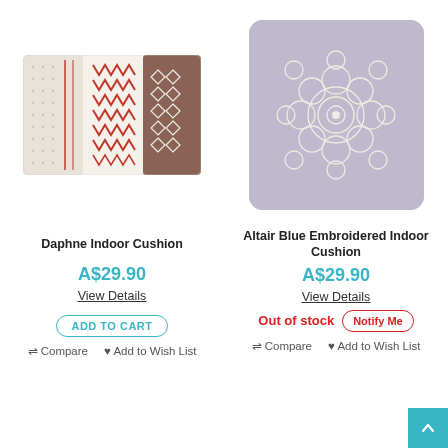[Figure (photo): Daphne Indoor Cushion — rectangular pillow with geometric ethnic pattern in red, dark grey/brown, and cream/white stripes and zigzag motifs]
[Figure (photo): Altair Blue Embroidered Indoor Cushion — square pillow with intricate floral mandala embroidery pattern in cream/white on lavender/grey background]
Daphne Indoor Cushion
A$29.90
View Details
ADD TO CART
Compare
Add to Wish List
Altair Blue Embroidered Indoor Cushion
A$29.90
View Details
Out of stock
Notify Me
Compare
Add to Wish List